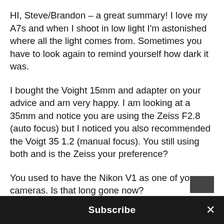HI, Steve/Brandon – a great summary! I love my A7s and when I shoot in low light I'm astonished where all the light comes from. Sometimes you have to look again to remind yourself how dark it was.
I bought the Voight 15mm and adapter on your advice and am very happy. I am looking at a 35mm and notice you are using the Zeiss F2.8 (auto focus) but I noticed you also recommended the Voigt 35 1.2 (manual focus). You still using both and is the Zeiss your preference?
You used to have the Nikon V1 as one of your cameras. Is that long gone now?
Great site. Keep up the great work
Subscribe ×